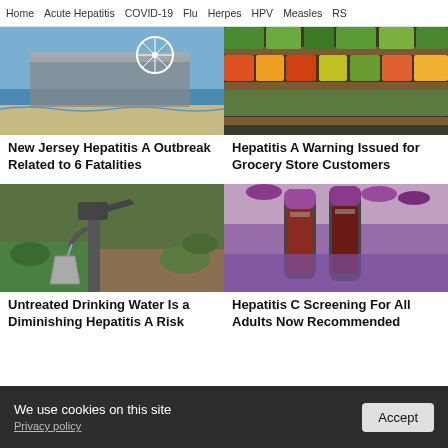Home  Acute Hepatitis  COVID-19  Flu  Herpes  HPV  Measles  RS
[Figure (photo): Boardwalk pier with Ferris wheel and beach]
New Jersey Hepatitis A Outbreak Related to 6 Fatalities
[Figure (photo): Grocery store produce aisle with colorful vegetables]
Hepatitis A Warning Issued for Grocery Store Customers
[Figure (photo): Old hand water pump filling a metal bucket outdoors]
Untreated Drinking Water Is a Diminishing Hepatitis A Risk
[Figure (photo): Purple-capped blood collection tubes held in gloved hands]
Hepatitis C Screening For All Adults Now Recommended
We use cookies on this site
Privacy policy
Accept